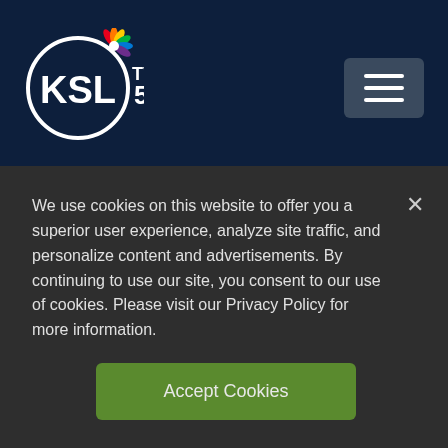[Figure (logo): KSL TV 5 NBC logo on dark navy header bar with hamburger menu button]
Madison Swenson
Man arrested for stabbing another man inside Pioneer Park
1 day ago
We use cookies on this website to offer you a superior user experience, analyze site traffic, and personalize content and advertisements. By continuing to use our site, you consent to our use of cookies. Please visit our Privacy Policy for more information.
Accept Cookies